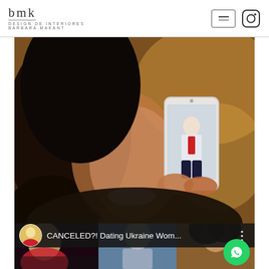[Figure (logo): BMK Design de Interiores Barbara Makant logo with stylized cursive bmk text and Instagram icon and hamburger menu button]
[Figure (photo): Woman smiling and holding a smartphone showing a photo of a man in white shirt and red tie on escalator, bokeh background]
[Figure (screenshot): Video thumbnail overlay with blonde woman avatar, text CANCELED?! Dating Ukraine Wom..., three-dot menu, and partial thumbnail images of people below, with WhatsApp bubble button]